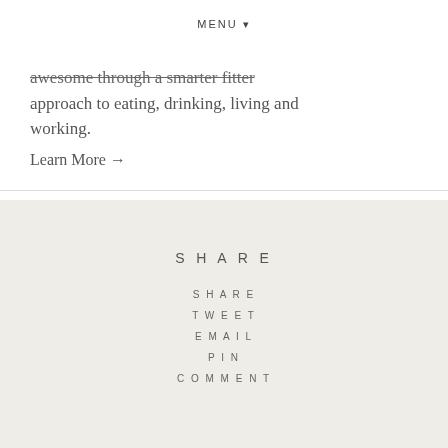MENU ▾
awesome through a smarter fitter approach to eating, drinking, living and working.
Learn More →
SHARE
SHARE
TWEET
EMAIL
PIN
COMMENT